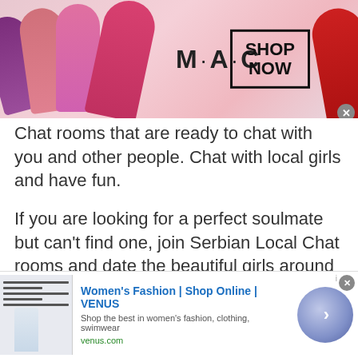[Figure (photo): MAC cosmetics advertisement banner showing colorful lipsticks on left and right sides with MAC logo and SHOP NOW button in center]
Chat rooms that are ready to chat with you and other people. Chat with local girls and have fun.
If you are looking for a perfect soulmate but can't find one, join Serbian Local Chat rooms and date the beautiful girls around you. Impress them with your conversation so that they can easily be friends with you.
You feel more comfortable in Serbian Local Chat rooms because you know all the people and they also know you. You can easily chat with them and talk to them on any topic.
[Figure (screenshot): Women's Fashion | Shop Online | VENUS advertisement with website screenshot thumbnail, text 'Shop the best in women's fashion, clothing, swimwear' and venus.com URL with a blue circle arrow button]